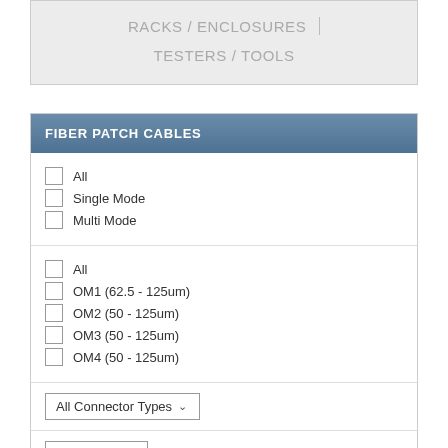RACKS / ENCLOSURES
TESTERS / TOOLS
FIBER PATCH CABLES
All
Single Mode
Multi Mode
All
OM1 (62.5 - 125um)
OM2 (50 - 125um)
OM3 (50 - 125um)
OM4 (50 - 125um)
All Connector Types
All Lengths